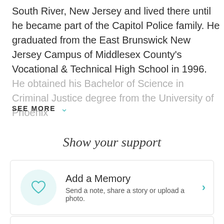South River, New Jersey and lived there until he became part of the Capitol Police family. He graduated from the East Brunswick New Jersey Campus of Middlesex County's Vocational & Technical High School in 1996. He obtained his Bachelor of Science in Criminal Justice degree from the University of Phoenix
SEE MORE
Show your support
Add a Memory
Send a note, share a story or upload a photo.